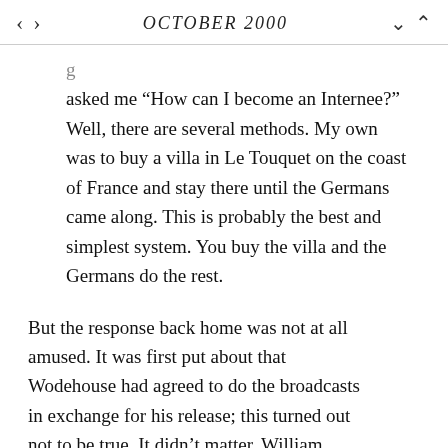OCTOBER 2000
asked me “How can I become an Internee?” Well, there are several methods. My own was to buy a villa in Le Touquet on the coast of France and stay there until the Germans came along. This is probably the best and simplest system. You buy the villa and the Germans do the rest.
But the response back home was not at all amused. It was first put about that Wodehouse had agreed to do the broadcasts in exchange for his release; this turned out not to be true. It didn’t matter. William